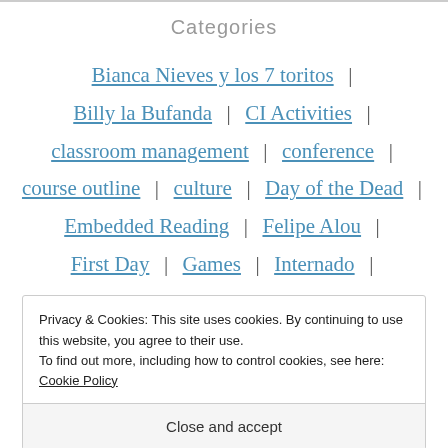Categories
Bianca Nieves y los 7 toritos | Billy la Bufanda | CI Activities | classroom management | conference | course outline | culture | Day of the Dead | Embedded Reading | Felipe Alou | First Day | Games | Internado |
Privacy & Cookies: This site uses cookies. By continuing to use this website, you agree to their use.
To find out more, including how to control cookies, see here: Cookie Policy
Close and accept